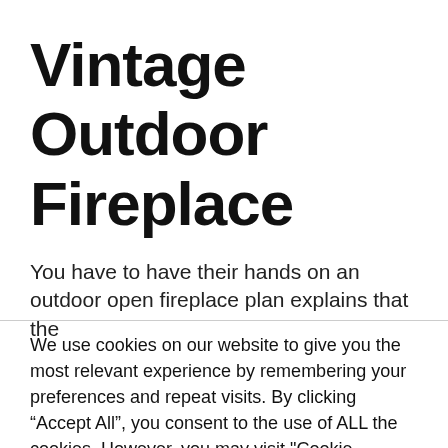Vintage Outdoor Fireplace
You have to have their hands on an outdoor open fireplace plan explains that the
We use cookies on our website to give you the most relevant experience by remembering your preferences and repeat visits. By clicking “Accept All”, you consent to the use of ALL the cookies. However, you may visit "Cookie Settings" to provide a controlled consent.